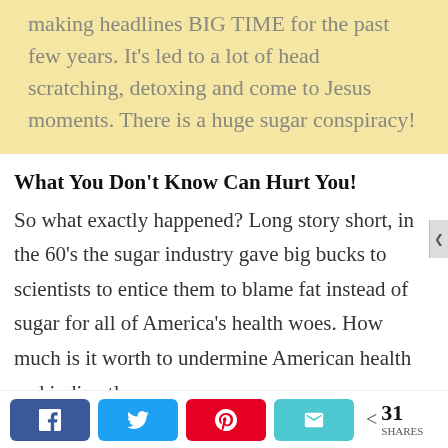making headlines BIG TIME for the past few years. It's led to a lot of head scratching, detoxing and come to Jesus moments. There is a huge sugar conspiracy!
What You Don't Know Can Hurt You!
So what exactly happened? Long story short, in the 60's the sugar industry gave big bucks to scientists to entice them to blame fat instead of sugar for all of America's health woes. How much is it worth to undermine American health and indirectly cause
31 SHARES